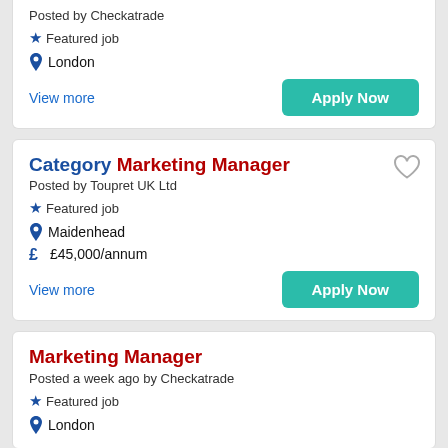Posted by Checkatrade
Featured job
London
View more
Apply Now
Category Marketing Manager
Posted by Toupret UK Ltd
Featured job
Maidenhead
£45,000/annum
View more
Apply Now
Marketing Manager
Posted a week ago by Checkatrade
Featured job
London